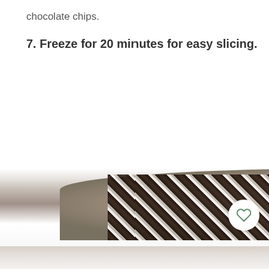chocolate chips.
7. Freeze for 20 minutes for easy slicing.
[Figure (photo): A close-up photo of a dessert topped with chocolate chips and white cream/frosting, shown on a round plate. The image is cropped at the bottom of the page.]